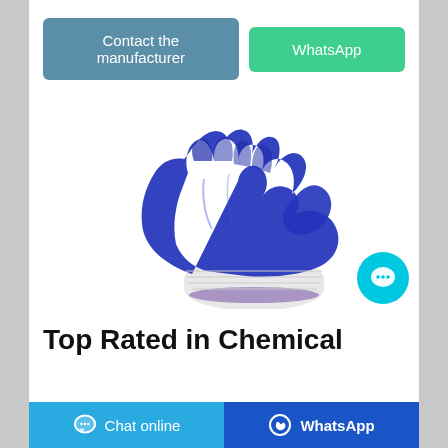[Figure (other): Two call-to-action buttons: 'Contact the manufacturer' (steel blue) and 'WhatsApp' (green)]
[Figure (photo): A blue nitrile-coated work glove with white knit wrist, shown from above at an angle, fingers curled, thumb extended]
Top Rated in Chemical
[Figure (other): Bottom navigation bar with 'Chat online' (light blue, left) and 'WhatsApp' (dark blue, right) buttons]